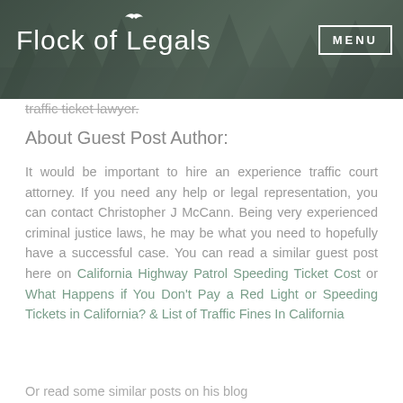Flock of Legals | MENU
traffic ticket lawyer.
About Guest Post Author:
It would be important to hire an experience traffic court attorney. If you need any help or legal representation, you can contact Christopher J McCann. Being very experienced criminal justice laws, he may be what you need to hopefully have a successful case. You can read a similar guest post here on California Highway Patrol Speeding Ticket Cost or What Happens if You Don't Pay a Red Light or Speeding Tickets in California? & List of Traffic Fines In California
Or read some similar posts on his blog